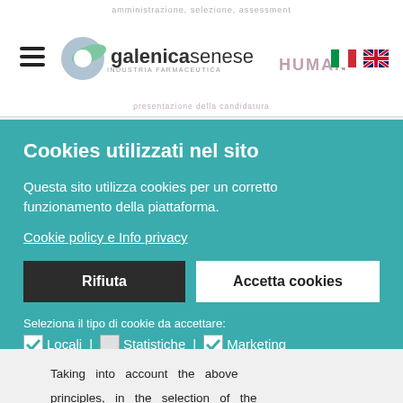[Figure (logo): Galenica Senese pharmaceutical company logo with hamburger menu icon and Italian/UK flag language selectors]
Cookies utilizzati nel sito
Questa sito utilizza cookies per un corretto funzionamento della piattaforma.
Cookie policy e Info privacy
Rifiuta
Accetta cookies
Seleziona il tipo di cookie da accettare:
✓Locali | Statistiche | ✓Marketing
Taking into account the above principles, in the selection of the employees the following points must